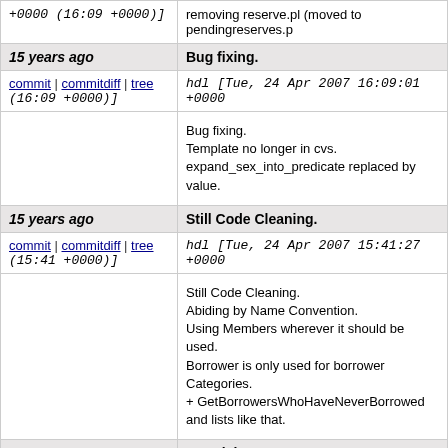+0000 (16:09 +0000)]
removing reserve.pl (moved to pendingreserves.p
15 years ago
Bug fixing.
commit | commitdiff | tree hdl [Tue, 24 Apr 2007 16:09:01 +0000 (16:09 +0000)]
Bug fixing.
Template no longer in cvs.
expand_sex_into_predicate replaced by value.
15 years ago
Still Code Cleaning.
commit | commitdiff | tree hdl [Tue, 24 Apr 2007 15:41:27 +0000 (15:41 +0000)]
Still Code Cleaning.
Abiding by Name Convention.
Using Members wherever it should be used.
Borrower is only used for borrower Categories.
+ GetBorrowersWhoHaveNeverBorrowed
and lists like that.
15 years ago
BugFixing :
commit | commitdiff | tree hdl [Tue, 24 Apr 2007 14:17:24 +0000